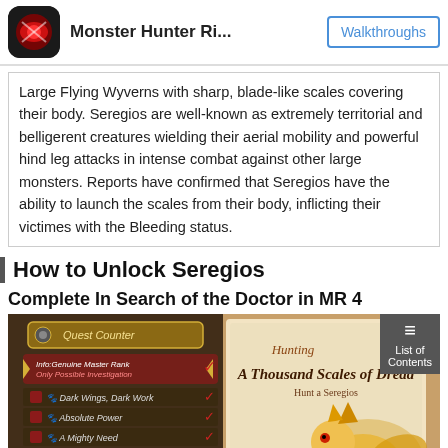Monster Hunter Ri... | Walkthroughs
Large Flying Wyverns with sharp, blade-like scales covering their body. Seregios are well-known as extremely territorial and belligerent creatures wielding their aerial mobility and powerful hind leg attacks in intense combat against other large monsters. Reports have confirmed that Seregios have the ability to launch the scales from their body, inflicting their victimes with the Bleeding status.
How to Unlock Seregios
Complete In Search of the Doctor in MR 4
[Figure (screenshot): Game screenshot showing Quest Counter menu with various quests listed including Dark Wings Dark Work, Absolute Power, A Mighty Need, Spooky Citadel?, Sacrilegious Thunder Wolf, A Thousand Scales of Dread, Hot Mud in Your Eye. On the right side shows a quest card for 'A Thousand Scales of Dread - Hunt a Seregios' with decorative monster illustration.]